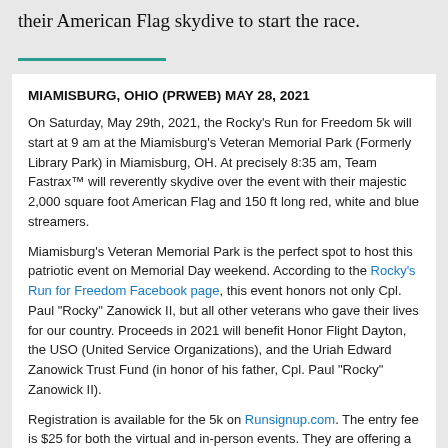their American Flag skydive to start the race.
MIAMISBURG, OHIO (PRWEB) MAY 28, 2021
On Saturday, May 29th, 2021, the Rocky's Run for Freedom 5k will start at 9 am at the Miamisburg's Veteran Memorial Park (Formerly Library Park) in Miamisburg, OH. At precisely 8:35 am, Team Fastrax™ will reverently skydive over the event with their majestic 2,000 square foot American Flag and 150 ft long red, white and blue streamers.
Miamisburg's Veteran Memorial Park is the perfect spot to host this patriotic event on Memorial Day weekend. According to the Rocky's Run for Freedom Facebook page, this event honors not only Cpl. Paul "Rocky" Zanowick II, but all other veterans who gave their lives for our country. Proceeds in 2021 will benefit Honor Flight Dayton, the USO (United Service Organizations), and the Uriah Edward Zanowick Trust Fund (in honor of his father, Cpl. Paul "Rocky" Zanowick II).
Registration is available for the 5k on Runsignup.com. The entry fee is $25 for both the virtual and in-person events. They are offering a discounted entry fee of $20 for those under 18 years old. It will automatically be applied based on the birth date used to register. The start line will be open for 30